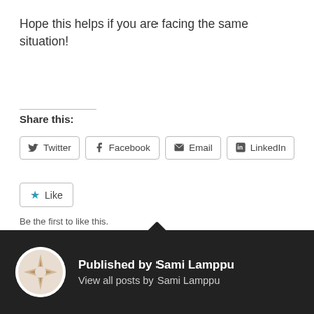Hope this helps if you are facing the same situation!
Share this:
[Figure (other): Social share buttons: Twitter, Facebook, Email, LinkedIn]
[Figure (other): Like button with blue star icon]
Be the first to like this.
#CLOUDAPPSECURITY
Published by Sami Lamppu
View all posts by Sami Lamppu